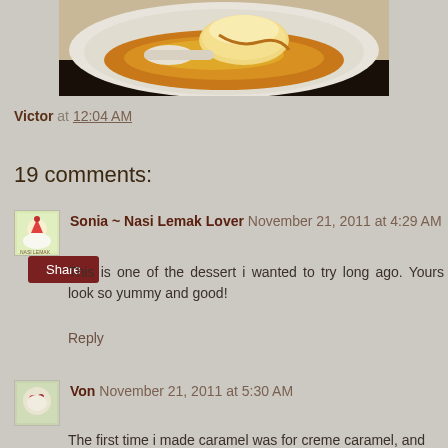[Figure (photo): Food photo showing a dessert - creme caramel or flan with caramel sauce on a white plate, partially cut, with golden caramel pooling around it]
Victor at 12:04 AM
Share
19 comments:
Sonia ~ Nasi Lemak Lover November 21, 2011 at 4:29 AM
This is one of the dessert i wanted to try long ago. Yours look so yummy and good!
Reply
Von November 21, 2011 at 5:30 AM
The first time i made caramel was for creme caramel, and...